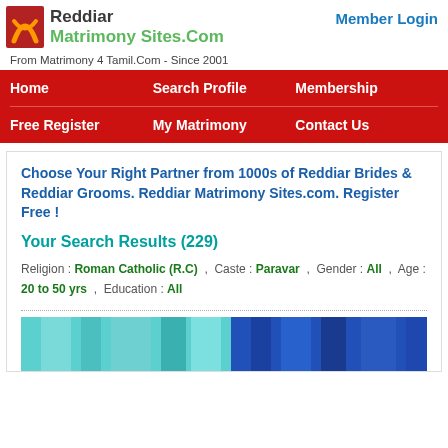[Figure (logo): Reddiar Matrimony Sites.Com logo with red/orange icon and green text]
Member Login
From Matrimony 4 Tamil.Com - Since 2001
Home   Search Profile   Membership
Free Register   My Matrimony   Contact Us
Choose Your Right Partner from 1000s of Reddiar Brides & Reddiar Grooms. Reddiar Matrimony Sites.com. Register Free !
Your Search Results (229)
Religion : Roman Catholic (R.C) ,  Caste : Paravar  ,  Gender : All  ,  Age : 20 to 50 yrs  ,  Education : All
[Figure (photo): Partial image of a person in blue/teal clothing at bottom of page]